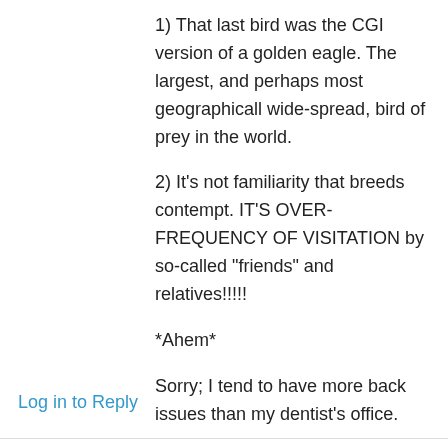1) That last bird was the CGI version of a golden eagle. The largest, and perhaps most geographicall wide-spread, bird of prey in the world.
2) It’s not familiarity that breeds contempt. IT’S OVER-FREQUENCY OF VISITATION by so-called “friends” and relatives!!!!!
*Ahem*
Sorry; I tend to have more back issues than my dentist’s office.
★ Like
Log in to Reply